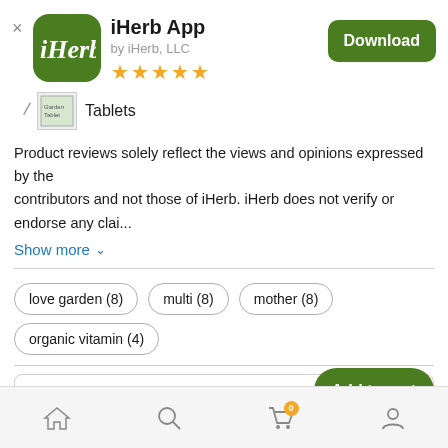iHerb App
by iHerb, LLC
[Figure (other): iHerb app icon - green rounded square with iHerb logo in white]
★★★★★
Download button
Tablets
Product reviews solely reflect the views and opinions expressed by the contributors and not those of iHerb. iHerb does not verify or endorse any clai...
Show more ∨
love garden (8)
multi (8)
mother (8)
organic vitamin (4)
Search Reviews
Add to cart
Home | Search | Cart (0) | Account